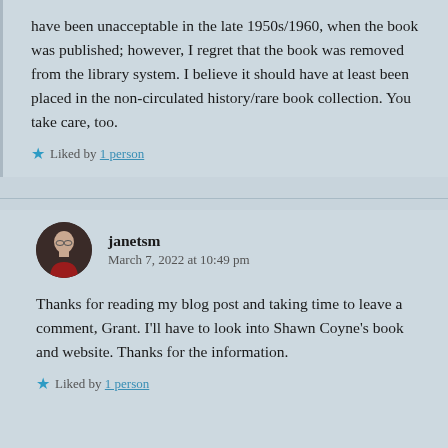have been unacceptable in the late 1950s/1960, when the book was published; however, I regret that the book was removed from the library system. I believe it should have at least been placed in the non-circulated history/rare book collection. You take care, too.
Liked by 1 person
janetsm
March 7, 2022 at 10:49 pm
Thanks for reading my blog post and taking time to leave a comment, Grant. I'll have to look into Shawn Coyne's book and website. Thanks for the information.
Liked by 1 person